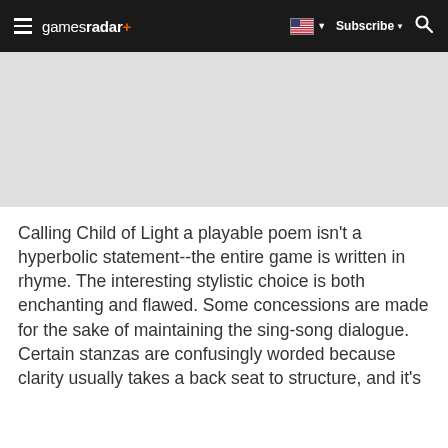gamesradar+ | Subscribe | Search
[Figure (other): Gray advertisement or banner image area]
Calling Child of Light a playable poem isn't a hyperbolic statement--the entire game is written in rhyme. The interesting stylistic choice is both enchanting and flawed. Some concessions are made for the sake of maintaining the sing-song dialogue. Certain stanzas are confusingly worded because clarity usually takes a back seat to structure, and it's